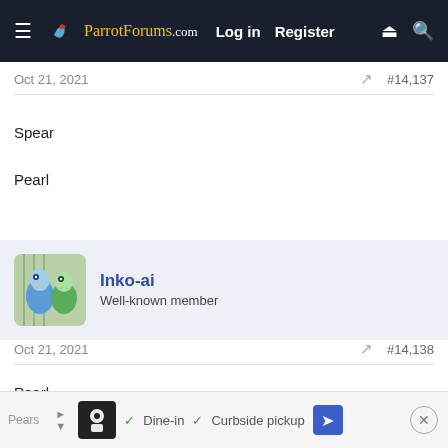ParrotForums.com  Log in  Register
Oct 21, 2021  #14,137
Spear

Pearl
Inko-ai
Well-known member
Oct 21, 2021  #14,138
Pearl
Pears  Dine-in  Curbside pickup